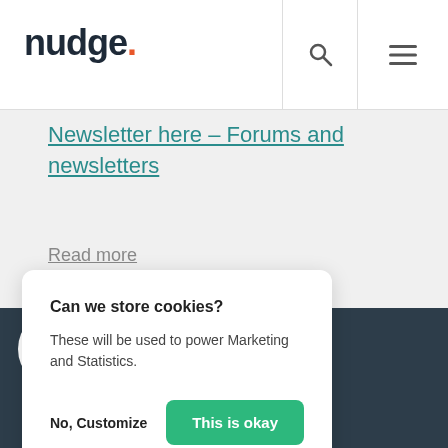[Figure (logo): nudge. logo with orange dot after the period]
[Figure (other): Search icon (magnifying glass) in nav bar]
[Figure (other): Hamburger menu icon (three horizontal lines) in nav bar]
Newsletter here – Forums and newsletters
Read more
Can we store cookies?
These will be used to power Marketing and Statistics.
No, Customize
This is okay
[Figure (other): Toggle switch turned on (green) inside white circle, with gray rectangle background at bottom of dark footer]